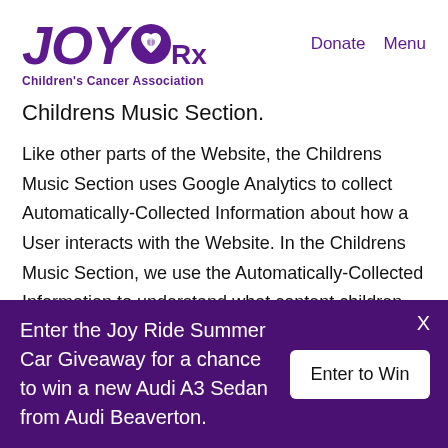JOY Rx Children's Cancer Association | Donate | Menu
Childrens Music Section.
Like other parts of the Website, the Childrens Music Section uses Google Analytics to collect Automatically-Collected Information about how a User interacts with the Website. In the Childrens Music Section, we use the Automatically-Collected Information to understand what content children are using, and to further optimize the Website. This Automatically-Collected Information is aggregated, and not traceable to any specific User
Enter the Joy Ride Summer Car Giveaway for a chance to win a new Audi A3 Sedan from Audi Beaverton.
Enter to Win